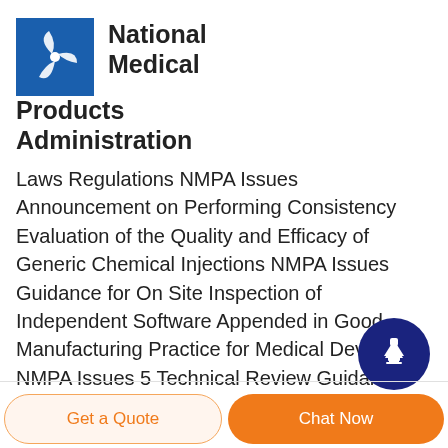[Figure (logo): Blue square logo with white propeller/fan icon for National Medical Products Administration]
National Medical Products Administration
Laws Regulations NMPA Issues Announcement on Performing Consistency Evaluation of the Quality and Efficacy of Generic Chemical Injections NMPA Issues Guidance for On Site Inspection of Independent Software Appended in Good Manufacturing Practice for Medical Devices NMPA Issues 5 Technical Review Guidances
[Figure (illustration): Dark blue circle with white upward arrow, scroll-to-top button]
Get a Quote
Chat Now